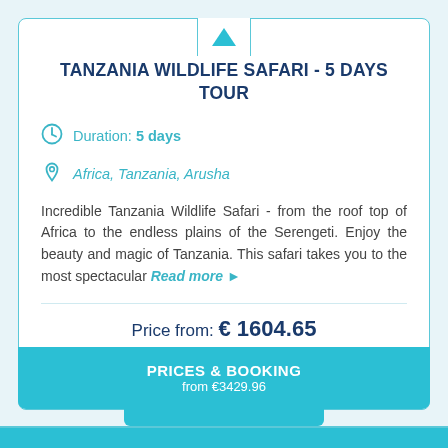TANZANIA WILDLIFE SAFARI - 5 DAYS TOUR
Duration: 5 days
Africa, Tanzania, Arusha
Incredible Tanzania Wildlife Safari - from the roof top of Africa to the endless plains of the Serengeti. Enjoy the beauty and magic of Tanzania. This safari takes you to the most spectacular Read more ▶
Price from: € 1604.65
Book with: € 175.51
DETAILS
PRICES & BOOKING
from €3429.96